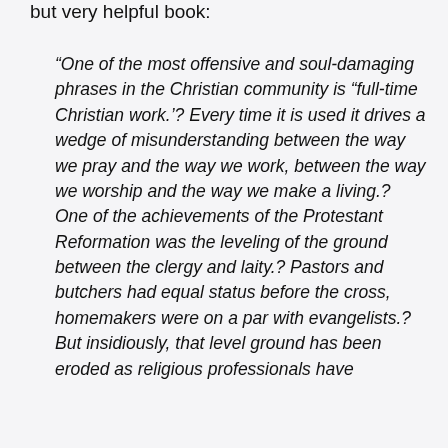but very helpful book:
“One of the most offensive and soul-damaging phrases in the Christian community is “full-time Christian work.’? Every time it is used it drives a wedge of misunderstanding between the way we pray and the way we work, between the way we worship and the way we make a living.? One of the achievements of the Protestant Reformation was the leveling of the ground between the clergy and laity.? Pastors and butchers had equal status before the cross, homemakers were on a par with evangelists.? But insidiously, that level ground has been eroded as religious professionals have